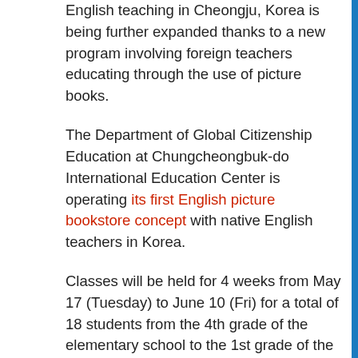English teaching in Cheongju, Korea is being further expanded thanks to a new program involving foreign teachers educating through the use of picture books.
The Department of Global Citizenship Education at Chungcheongbuk-do International Education Center is operating its first English picture bookstore concept with native English teachers in Korea.
Classes will be held for 4 weeks from May 17 (Tuesday) to June 10 (Fri) for a total of 18 students from the 4th grade of the elementary school to the 1st grade of the middle school in Cheongju from 16:00 to 17:30 on Tuesdays and Fridays for 4 weeks.
The course is divided into three classes: upper, middle, and basic so that students can choose the class that suits their level. Individually customized instruction is possible as the classes can be organized in small numbers of students without classifying the grade